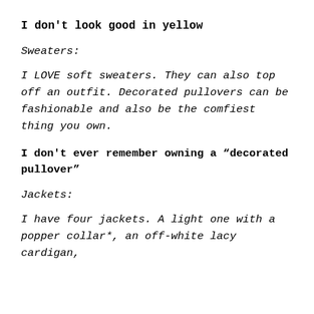I don't look good in yellow
Sweaters:
I LOVE soft sweaters. They can also top off an outfit. Decorated pullovers can be fashionable and also be the comfiest thing you own.
I don't ever remember owning a “decorated pullover”
Jackets:
I have four jackets. A light one with a popper collar*, an off-white lacy cardigan,